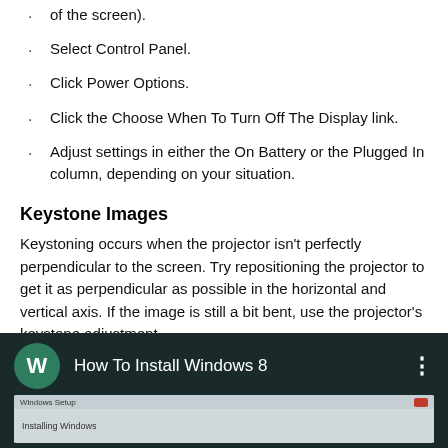of the screen).
Select Control Panel.
Click Power Options.
Click the Choose When To Turn Off The Display link.
Adjust settings in either the On Battery or the Plugged In column, depending on your situation.
Keystone Images
Keystoning occurs when the projector isn't perfectly perpendicular to the screen. Try repositioning the projector to get it as perpendicular as possible in the horizontal and vertical axis. If the image is still a bit bent, use the projector's keystone adjustment.
[Figure (screenshot): Video thumbnail for 'How To Install Windows 8' showing a Windows Setup dialog with 'Installing Windows' text, dark background with green circle W icon.]